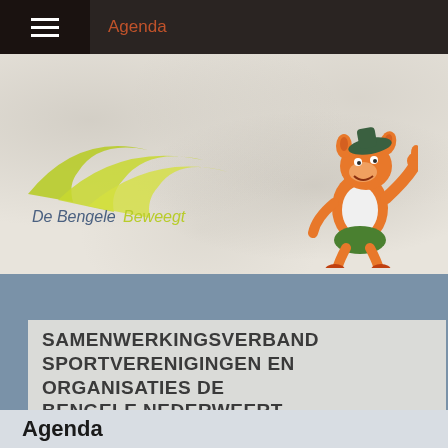Agenda
[Figure (logo): De Bengele Beweegt logo with green swoosh curves and text]
[Figure (illustration): Orange cartoon tiger/lion mascot character running with thumbs up, wearing green shorts and white vest]
SAMENWERKINGSVERBAND SPORTVERENIGINGEN EN ORGANISATIES DE BENGELE NEDERWEERT
Agenda